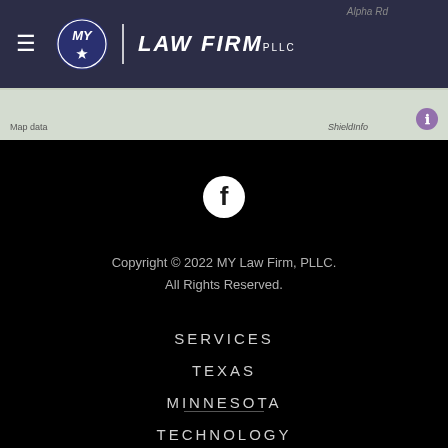[Figure (screenshot): Website header with map background, dark navy top bar containing hamburger menu icon, MY Law Firm PLLC logo (circular navy badge with MY and star), and firm name text. Below is a partial map strip.]
[Figure (logo): Facebook circular icon (white F on white circle with dark background)]
Copyright © 2022 MY Law Firm, PLLC.
All Rights Reserved.
SERVICES
TEXAS
MINNESOTA
TECHNOLOGY